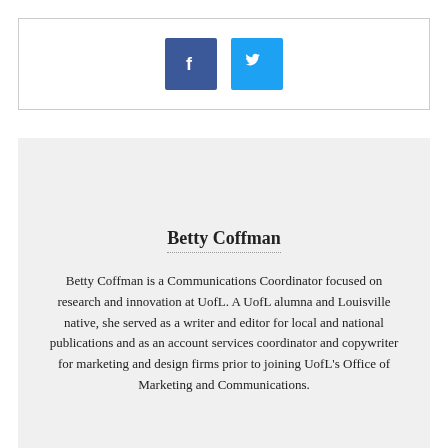[Figure (logo): Two social media icons: a dark blue Facebook icon with letter 'f' and a light blue Twitter icon with bird logo, inside a white bordered box]
Betty Coffman
Betty Coffman is a Communications Coordinator focused on research and innovation at UofL. A UofL alumna and Louisville native, she served as a writer and editor for local and national publications and as an account services coordinator and copywriter for marketing and design firms prior to joining UofL's Office of Marketing and Communications.